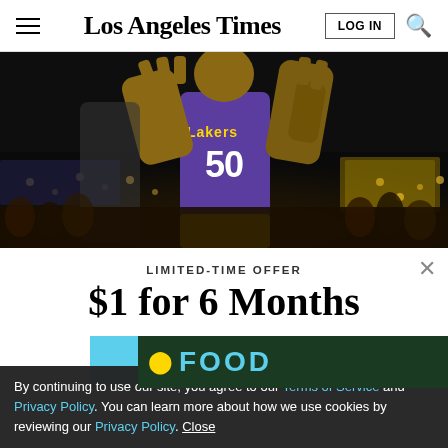Los Angeles Times
[Figure (photo): Basketball player wearing Lakers #50 jersey shooting or dunking, arms raised, crowd in background]
LIMITED-TIME OFFER
$1 for 6 Months
SUBSCRIBE NOW
By continuing to use our site, you agree to our Terms of Service and Privacy Policy. You can learn more about how we use cookies by reviewing our Privacy Policy. Close